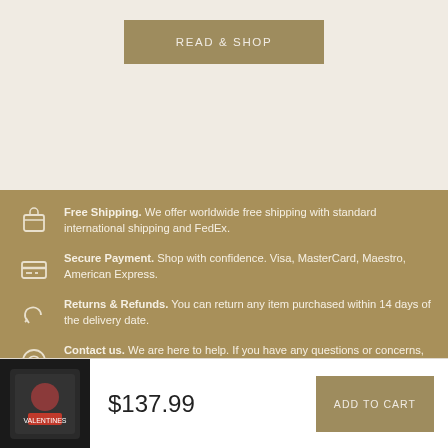[Figure (other): READ & SHOP button on beige background]
Free Shipping. We offer worldwide free shipping with standard international shipping and FedEx.
Secure Payment. Shop with confidence. Visa, MasterCard, Maestro, American Express.
Returns & Refunds. You can return any item purchased within 14 days of the delivery date.
Contact us. We are here to help. If you have any questions or concerns, please don't hesitate to contact us.
$137.99
ADD TO CART